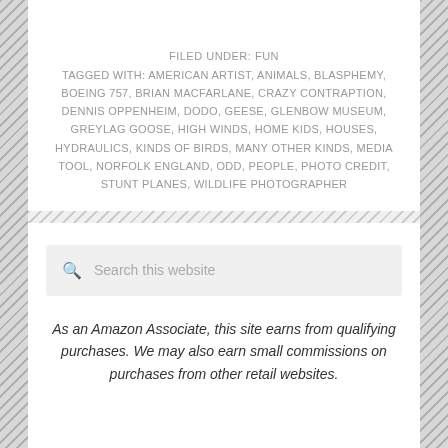FILED UNDER: FUN
TAGGED WITH: AMERICAN ARTIST, ANIMALS, BLASPHEMY, BOEING 757, BRIAN MACFARLANE, CRAZY CONTRAPTION, DENNIS OPPENHEIM, DODO, GEESE, GLENBOW MUSEUM, GREYLAG GOOSE, HIGH WINDS, HOME KIDS, HOUSES, HYDRAULICS, KINDS OF BIRDS, MANY OTHER KINDS, MEDIA TOOL, NORFOLK ENGLAND, ODD, PEOPLE, PHOTO CREDIT, STUNT PLANES, WILDLIFE PHOTOGRAPHER
[Figure (other): Diagonal stripe divider line]
Search this website
As an Amazon Associate, this site earns from qualifying purchases. We may also earn small commissions on purchases from other retail websites.